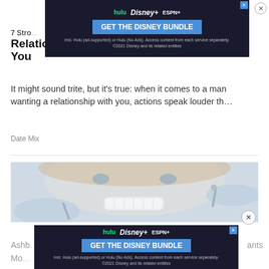[Figure (screenshot): Hulu Disney+ ESPN+ GET THE DISNEY BUNDLE advertisement banner at top of page]
7 Strong Signs a Man Wants a Relationship With You
It might sound trite, but it's true: when it comes to a man wanting a relationship with you, actions speak louder th...
Date Mix
[Figure (photo): Woman smiling at dentist appointment with dental tools visible, gloved hands examining teeth]
[Figure (screenshot): Hulu Disney+ ESPN+ GET THE DISNEY BUNDLE advertisement banner at bottom of page]
Ashb... ants Mo...